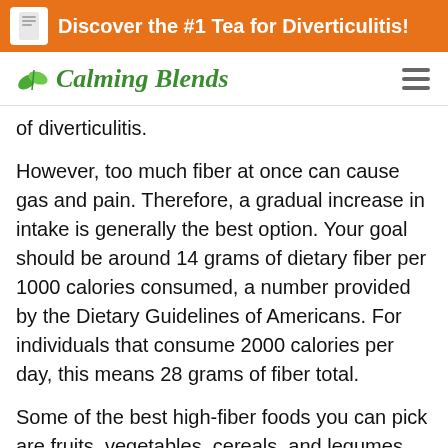Discover the #1 Tea for Diverticulitis!
[Figure (logo): Calming Blends logo with green leaf icon and script text]
of diverticulitis.
However, too much fiber at once can cause gas and pain. Therefore, a gradual increase in intake is generally the best option. Your goal should be around 14 grams of dietary fiber per 1000 calories consumed, a number provided by the Dietary Guidelines of Americans. For individuals that consume 2000 calories per day, this means 28 grams of fiber total.
Some of the best high-fiber foods you can pick are fruits, vegetables, cereals, and legumes. For fruits, aim for apples, pears, and raspberries. For vegetables, try broccoli, green peas, and even